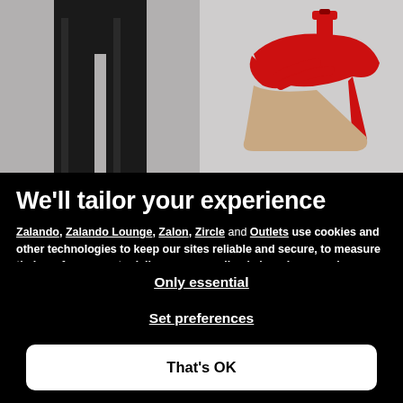[Figure (photo): Two product images side by side: left shows black pants/trousers on a grey background, right shows a red strappy high-heel sandal on a light grey background]
We'll tailor your experience
Zalando, Zalando Lounge, Zalon, Zircle and Outlets use cookies and other technologies to keep our sites reliable and secure, to measure their performance, to deliver a personalised shopping experience and personalised advertising. To do this, we collect information about users, their behaviour, and their devices.
If you select "That's OK", you accept this and agree that we may share this information with third parties, such as our marketing partners.
Only essential
Set preferences
That's OK